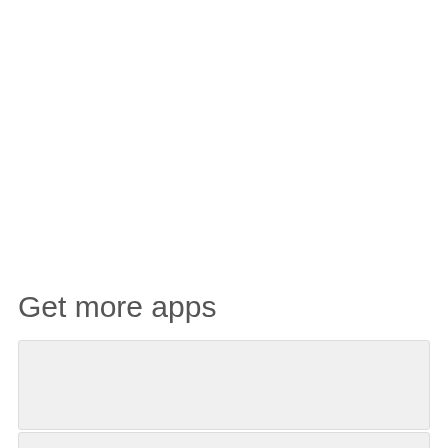Get more apps
SwiftKey Keyboard
[Figure (other): Partial card with a blue circular icon visible at the bottom of the page]